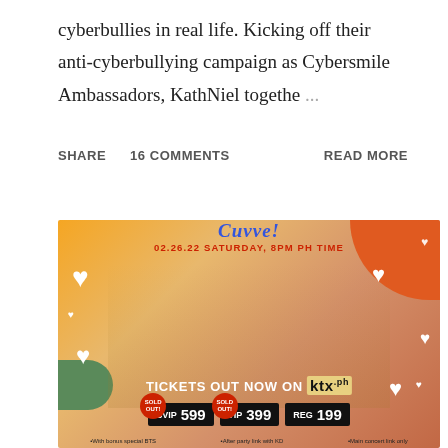cyberbullies in real life. Kicking off their anti-cyberbullying campaign as Cybersmile Ambassadors, KathNiel togethe ...
SHARE   16 COMMENTS   READ MORE
[Figure (photo): Concert promotional poster for an event on 02.26.22 Saturday, 8PM PH Time. Features two performers dressed in yellow outfits with white heart decorations on an orange gradient background. Text reads 'TICKETS OUT NOW ON ktx.ph' with ticket tiers: SVIP 599 (SOLD OUT), VIP 399 (SOLD OUT), REG 199. Bottom text mentions bonus special BTS, after party link with KD, and main concert link only.]